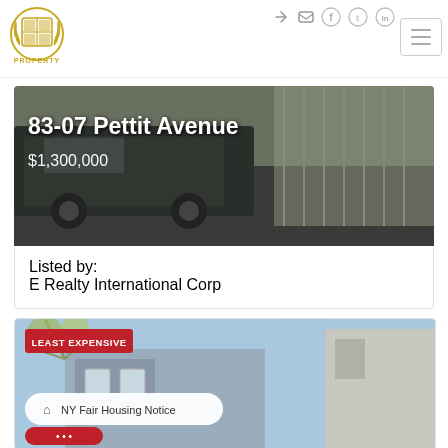[Figure (logo): Property company gold crest/badge logo with laurel wreath]
[Figure (screenshot): Navigation bar icons: login arrow, mail, facebook, twitter, linkedin, hamburger menu]
[Figure (photo): Street photo showing dark SUV parked on street, listing overlay: 83-07 Pettit Avenue, $1,300,000]
Listed by:
E Realty International Corp
[Figure (photo): Photo of blue/grey residential house with sky background, LEAST EXPENSIVE badge, NY Fair Housing Notice pill, chat bubble button]